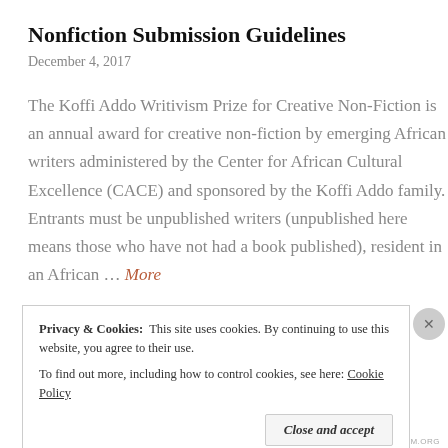Nonfiction Submission Guidelines
December 4, 2017
The Koffi Addo Writivism Prize for Creative Non-Fiction is an annual award for creative non-fiction by emerging African writers administered by the Center for African Cultural Excellence (CACE) and sponsored by the Koffi Addo family. Entrants must be unpublished writers (unpublished here means those who have not had a book published), resident in an African … More
Privacy & Cookies:  This site uses cookies. By continuing to use this website, you agree to their use.
To find out more, including how to control cookies, see here: Cookie Policy
Close and accept